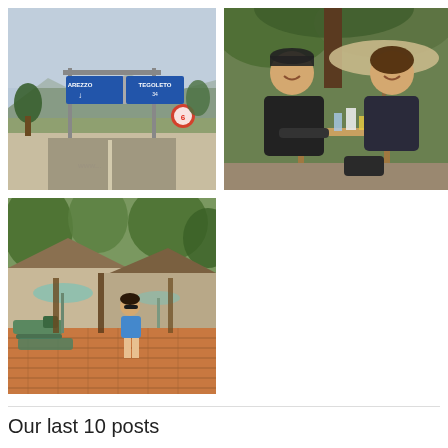[Figure (photo): Road with blue highway signs reading AREZZO and TEGOLETO, mountains in background]
[Figure (photo): Man and woman sitting at a wooden table outdoors under an umbrella, with food and drinks, smiling at camera]
[Figure (photo): Outdoor lodge or resort area with thatched roof buildings, lounge chairs, brick patio, trees, and a woman standing in center]
Our last 10 posts